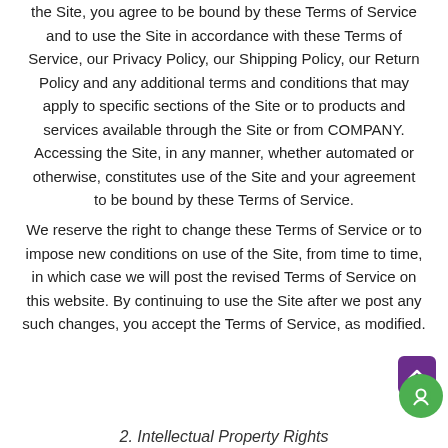the Site, you agree to be bound by these Terms of Service and to use the Site in accordance with these Terms of Service, our Privacy Policy, our Shipping Policy, our Return Policy and any additional terms and conditions that may apply to specific sections of the Site or to products and services available through the Site or from COMPANY. Accessing the Site, in any manner, whether automated or otherwise, constitutes use of the Site and your agreement to be bound by these Terms of Service.
We reserve the right to change these Terms of Service or to impose new conditions on use of the Site, from time to time, in which case we will post the revised Terms of Service on this website. By continuing to use the Site after we post any such changes, you accept the Terms of Service, as modified.
2. Intellectual Property Rights